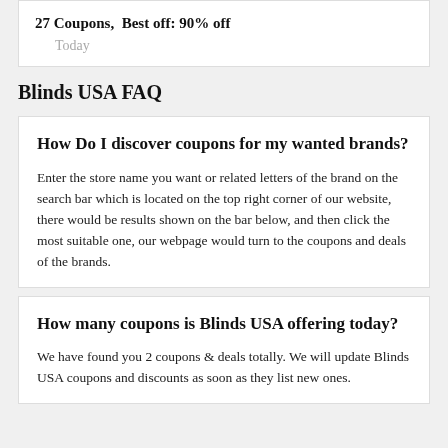27 Coupons,  Best off: 90% off
Today
Blinds USA FAQ
How Do I discover coupons for my wanted brands?
Enter the store name you want or related letters of the brand on the search bar which is located on the top right corner of our website, there would be results shown on the bar below, and then click the most suitable one, our webpage would turn to the coupons and deals of the brands.
How many coupons is Blinds USA offering today?
We have found you 2 coupons & deals totally. We will update Blinds USA coupons and discounts as soon as they list new ones.